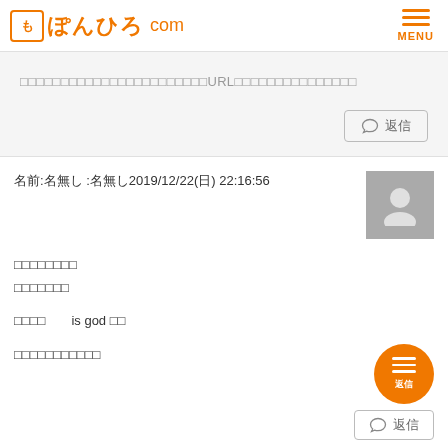ぽんひろ com MENU
□□□□□□□□□□□□□□□□□□□□□□□□□URL□□□□□□□□□□□□□□
○ 返信
名前:名無し :2019/12/22(日) 22:16:56
□□□□□□□□
□□□□□□□

□□□□　is god □□

□□□□□□□□□□□